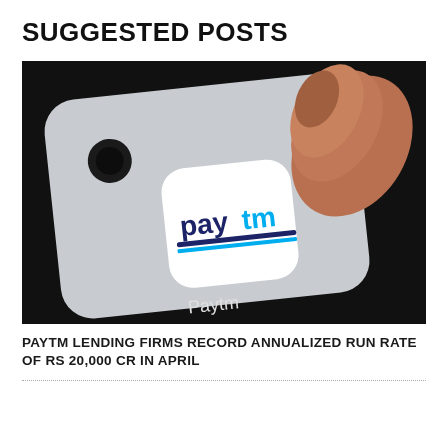SUGGESTED POSTS
[Figure (photo): Close-up of a finger pressing the Paytm app icon on a smartphone screen. The phone has a white/light silver body with a rounded corner visible. The Paytm app icon is white with rounded corners showing the Paytm logo in navy and light blue colors. Below the icon the label 'Paytm' is visible in white text on the dark background of the phone screen.]
PAYTM LENDING FIRMS RECORD ANNUALIZED RUN RATE OF RS 20,000 CR IN APRIL